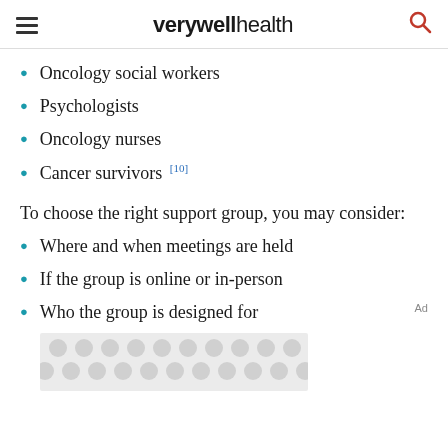verywell health
Oncology social workers
Psychologists
Oncology nurses
Cancer survivors [10]
To choose the right support group, you may consider:
Where and when meetings are held
If the group is online or in-person
Who the group is designed for
[Figure (other): Advertisement placeholder with grey circular dot pattern background]